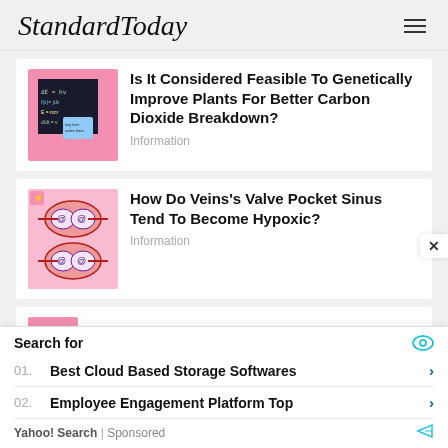StandardToday
[Figure (illustration): Thumbnail image with pink border showing a blackboard with math/science equations written in chalk]
Is It Considered Feasible To Genetically Improve Plants For Better Carbon Dioxide Breakdown?
Information
[Figure (illustration): Thumbnail image with pink background showing anatomical diagram of veins valve pocket sinus]
How Do Veins's Valve Pocket Sinus Tend To Become Hypoxic?
Information
Search for
01. Best Cloud Based Storage Softwares
02. Employee Engagement Platform Top
Yahoo! Search | Sponsored